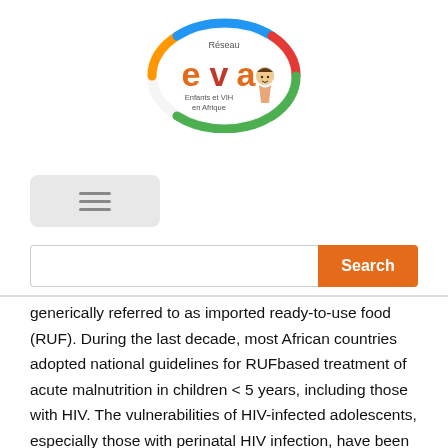[Figure (logo): Réseau EVA (Enfants et VIH en Afrique) logo — colorful oval with orange-red 'eva' text and a child figure illustration]
[Figure (other): Hamburger menu button (three horizontal lines on grey background)]
[Figure (other): Search bar with text input field and orange Search button]
generically referred to as imported ready-to-use food (RUF). During the last decade, most African countries adopted national guidelines for RUFbased treatment of acute malnutrition in children < 5 years, including those with HIV. The vulnerabilities of HIV-infected adolescents, especially those with perinatal HIV infection, have been extensively described [7]. They often have more advanced HIV disease with